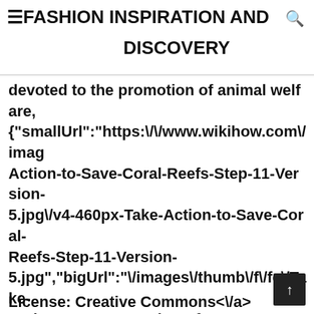≡ FASHION INSPIRATION AND DISCOVERY
devoted to the promotion of animal welfare, {"smallUrl":"https:\/\/www.wikihow.com\/imag Action-to-Save-Coral-Reefs-Step-11-Version-5.jpg\/v4-460px-Take-Action-to-Save-Coral-Reefs-Step-11-Version-5.jpg","bigUrl":"\/images\/thumb\/f\/fe\/Take-Action-to-Save-Coral-Reefs-Step-11-Version-5.jpg\/aid443015-v4-728px-Take-Action-to-Save-Coral-Reefs-Step-11-Version-5.jpg","smallWidth":460,"smallHeight":345,"b
License: Creative Commons<\/a>